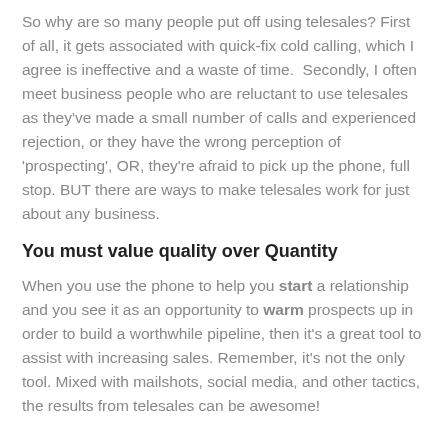So why are so many people put off using telesales? First of all, it gets associated with quick-fix cold calling, which I agree is ineffective and a waste of time.  Secondly, I often meet business people who are reluctant to use telesales as they've made a small number of calls and experienced rejection, or they have the wrong perception of 'prospecting', OR, they're afraid to pick up the phone, full stop. BUT there are ways to make telesales work for just about any business.
You must value quality over Quantity
When you use the phone to help you start a relationship and you see it as an opportunity to warm prospects up in order to build a worthwhile pipeline, then it's a great tool to assist with increasing sales. Remember, it's not the only tool. Mixed with mailshots, social media, and other tactics, the results from telesales can be awesome!